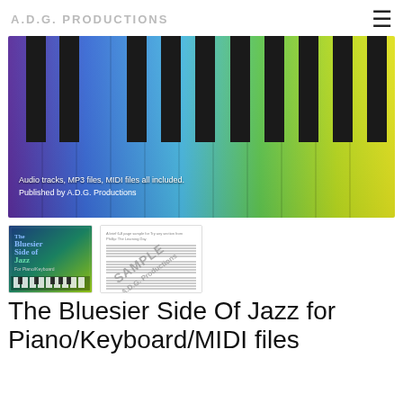A.D.G. PRODUCTIONS
[Figure (photo): Close-up of colorful piano/keyboard keys with rainbow gradient colors (purple, blue, green, yellow), with text overlay: 'Audio tracks, MP3 files, MIDI files all included. Published by A.D.G. Productions']
[Figure (photo): Thumbnail of book cover: The Bluesier Side of Jazz for Piano/Keyboard with rainbow piano keys design]
[Figure (photo): Thumbnail of sample sheet music page with diagonal SAMPLE A.D.G. Productions watermark]
The Bluesier Side Of Jazz for Piano/Keyboard/MIDI files